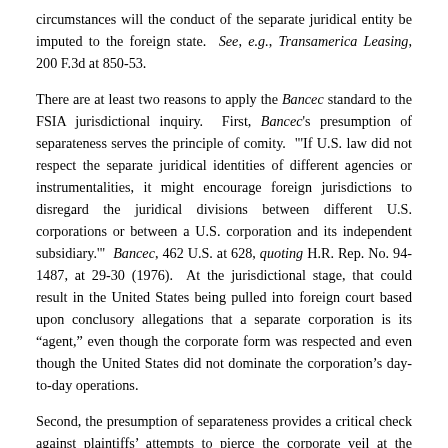circumstances will the conduct of the separate juridical entity be imputed to the foreign state. See, e.g., Transamerica Leasing, 200 F.3d at 850-53.
There are at least two reasons to apply the Bancec standard to the FSIA jurisdictional inquiry. First, Bancec's presumption of separateness serves the principle of comity. "'If U.S. law did not respect the separate juridical identities of different agencies or instrumentalities, it might encourage foreign jurisdictions to disregard the juridical divisions between different U.S. corporations or between a U.S. corporation and its independent subsidiary.'" Bancec, 462 U.S. at 628, quoting H.R. Rep. No. 94-1487, at 29-30 (1976). At the jurisdictional stage, that could result in the United States being pulled into foreign court based upon conclusory allegations that a separate corporation is its “agent,” even though the corporate form was respected and even though the United States did not dominate the corporation’s day-to-day operations.
Second, the presumption of separateness provides a critical check against plaintiffs’ attempts to pierce the corporate veil at the jurisdictional stage. If the actions of separate corporations acting in the United States could be freely imputed to foreign states, foreign sovereigns would be much more frequently drawn into highly burdensome litigation in United States